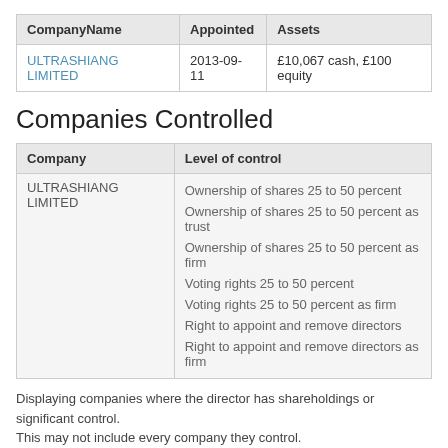| CompanyName | Appointed | Assets |
| --- | --- | --- |
| ULTRASHIANG LIMITED | 2013-09-11 | £10,067 cash, £100 equity |
Companies Controlled
| Company | Level of control |
| --- | --- |
| ULTRASHIANG LIMITED | Ownership of shares 25 to 50 percent
Ownership of shares 25 to 50 percent as trust
Ownership of shares 25 to 50 percent as firm
Voting rights 25 to 50 percent
Voting rights 25 to 50 percent as firm
Right to appoint and remove directors
Right to appoint and remove directors as firm |
Displaying companies where the director has shareholdings or significant control.
This may not include every company they control.